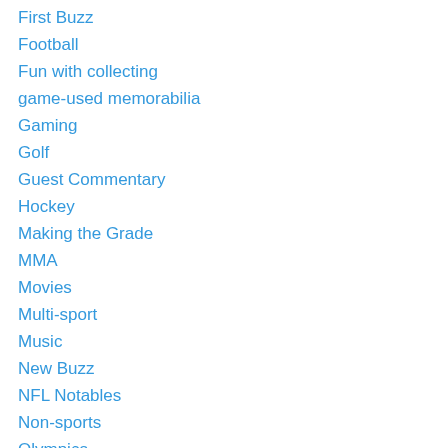First Buzz
Football
Fun with collecting
game-used memorabilia
Gaming
Golf
Guest Commentary
Hockey
Making the Grade
MMA
Movies
Multi-sport
Music
New Buzz
NFL Notables
Non-sports
Olympics
phone apps
Pro Wrestling
Racing